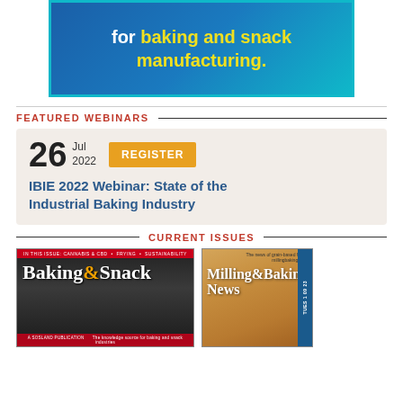[Figure (illustration): Blue gradient banner advertisement with text 'for baking and snack manufacturing.' in white and yellow bold text]
FEATURED WEBINARS
26 Jul 2022 REGISTER — IBIE 2022 Webinar: State of the Industrial Baking Industry
CURRENT ISSUES
[Figure (photo): Baking & Snack magazine cover with dark background]
[Figure (photo): Milling & Baking News magazine cover with golden wheat background]